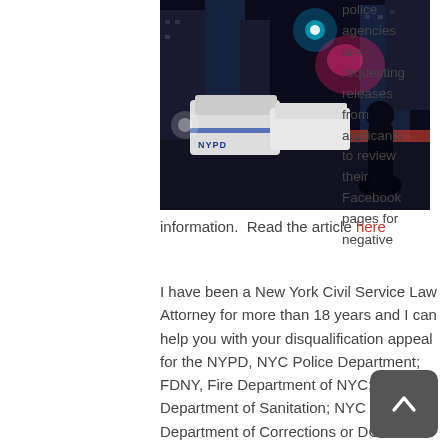[Figure (photo): Night street scene with NYPD police vehicles and flashing lights in New York City]
police agencies are requesting releases from applicants to review their Facebook pages for negative
information.  Read the article here
I have been a New York Civil Service Law Attorney for more than 18 years and I can help you with your disqualification appeal for the NYPD, NYC Police Department; FDNY, Fire Department of NYC; NYC Department of Sanitation; NYC Department of Corrections or DCAS NYC Department of Citywide Administrative Services.